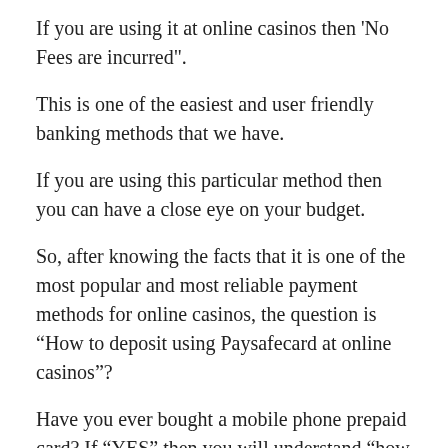If you are using it at online casinos then 'No Fees are incurred".
This is one of the easiest and user friendly banking methods that we have.
If you are using this particular method then you can have a close eye on your budget.
So, after knowing the facts that it is one of the most popular and most reliable payment methods for online casinos, the question is “How to deposit using Paysafecard at online casinos”?
Have you ever bought a mobile phone prepaid card? If “YES” then you will understand “how does Paysafecard works”.
As mentioned earlier Paysafecard is a pre paid card and you can buy one from over 500,000 outlets operating in 44 countries and then recharge your card using denominations (vouchers) of 10,